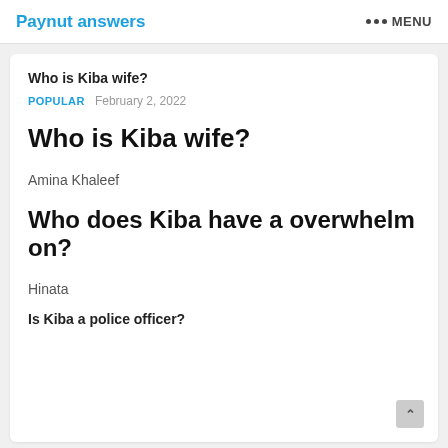Paynut answers   ••• MENU
Who is Kiba wife?
POPULAR   February 2, 2022
Who is Kiba wife?
Amina Khaleef
Who does Kiba have a overwhelm on?
Hinata
Is Kiba a police officer?